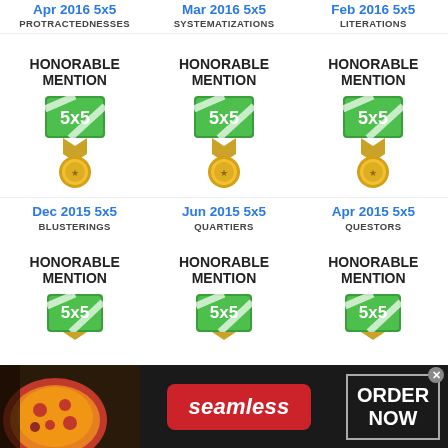Apr 2016 5x5 / PROTRACTEDNESSES
Mar 2016 5x5 / SYSTEMATIZATIONS
Feb 2016 5x5 / LITERATIONS
HONORABLE MENTION
HONORABLE MENTION
HONORABLE MENTION
[Figure (illustration): 5x5 medal badge with green shield and gold medallion (Apr 2016)]
[Figure (illustration): 5x5 medal badge with green shield and gold medallion (Mar 2016)]
[Figure (illustration): 5x5 medal badge with green shield and gold medallion (Feb 2016)]
Dec 2015 5x5 / BLUSTERINGS
Jun 2015 5x5 / QUARTIERS
Apr 2015 5x5 / QUESTORS
HONORABLE MENTION
HONORABLE MENTION
HONORABLE MENTION
[Figure (illustration): 5x5 medal badge top portion (Dec 2015)]
[Figure (illustration): 5x5 medal badge top portion (Jun 2015)]
[Figure (illustration): 5x5 medal badge top portion (Apr 2015)]
[Figure (illustration): Seamless food delivery advertisement banner with pizza image, Seamless logo, and ORDER NOW button]